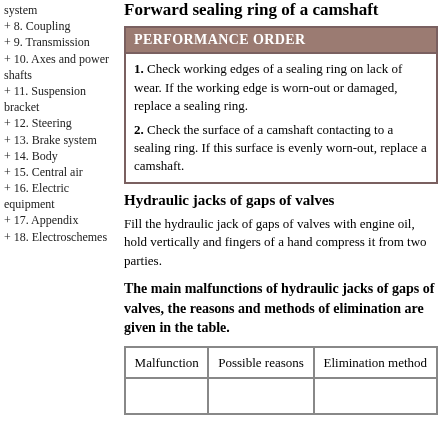system
+ 8. Coupling
+ 9. Transmission
+ 10. Axes and power shafts
+ 11. Suspension bracket
+ 12. Steering
+ 13. Brake system
+ 14. Body
+ 15. Central air
+ 16. Electric equipment
+ 17. Appendix
+ 18. Electroschemes
Forward sealing ring of a camshaft
PERFORMANCE ORDER
1. Check working edges of a sealing ring on lack of wear. If the working edge is worn-out or damaged, replace a sealing ring.
2. Check the surface of a camshaft contacting to a sealing ring. If this surface is evenly worn-out, replace a camshaft.
Hydraulic jacks of gaps of valves
Fill the hydraulic jack of gaps of valves with engine oil, hold vertically and fingers of a hand compress it from two parties.
The main malfunctions of hydraulic jacks of gaps of valves, the reasons and methods of elimination are given in the table.
| Malfunction | Possible reasons | Elimination method |
| --- | --- | --- |
|  |  |  |